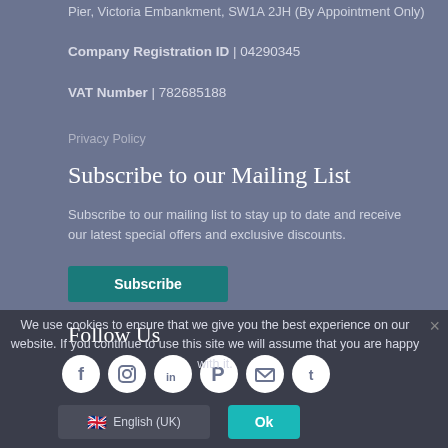Pier, Victoria Embankment, SW1A 2JH (By Appointment Only)
Company Registration ID | 04290345
VAT Number | 782685188
Privacy Policy
Subscribe to our Mailing List
Subscribe to our mailing list to stay up to date and receive our latest special offers and exclusive discounts.
Subscribe
Follow Us
[Figure (other): Social media icons: Facebook, Instagram, LinkedIn, Pinterest, Email, Twitter]
We use cookies to ensure that we give you the best experience on our website. If you continue to use this site we will assume that you are happy with it.
English (UK)
Ok